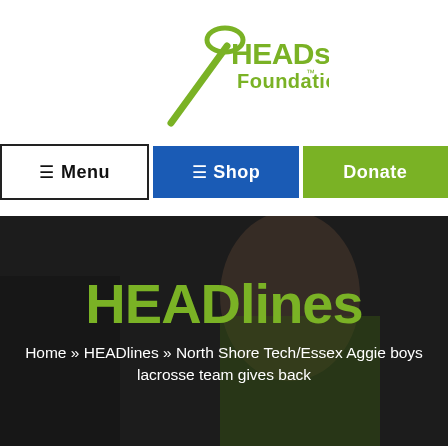[Figure (logo): HEADstrong Foundation logo — stylized green lacrosse stick with 'HEADstrong Foundation' text in green]
☰ Menu  ☰ Shop  Donate
[Figure (photo): Person wearing a green t-shirt, dark overlay background for hero banner]
HEADlines
Home » HEADlines » North Shore Tech/Essex Aggie boys lacrosse team gives back